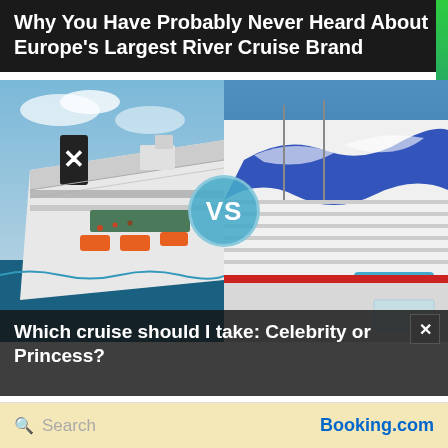Why You Have Probably Never Heard About Europe's Largest River Cruise Brand
[Figure (photo): Split image showing two cruise ships side by side with a 'VS' circle in the center. Left: aerial view of a Celebrity cruise ship deck with a large X logo on the funnel. Right: close-up of a Princess cruise ship hull with blue and white wave logo.]
Which cruise should I take: Celebrity or Princess?
Search
Booking.com